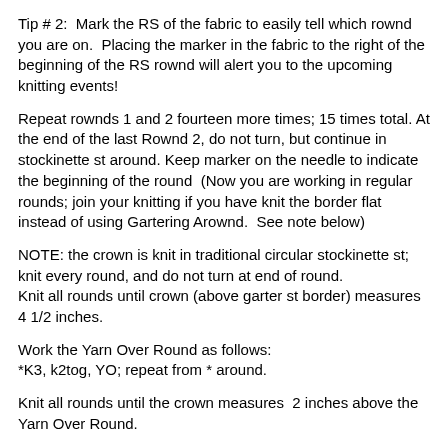Tip # 2:  Mark the RS of the fabric to easily tell which rownd you are on.  Placing the marker in the fabric to the right of the beginning of the RS rownd will alert you to the upcoming knitting events!
Repeat rownds 1 and 2 fourteen more times; 15 times total. At the end of the last Rownd 2, do not turn, but continue in stockinette st around. Keep marker on the needle to indicate the beginning of the round  (Now you are working in regular rounds; join your knitting if you have knit the border flat instead of using Gartering Arownd.  See note below)
NOTE: the crown is knit in traditional circular stockinette st; knit every round, and do not turn at end of round.
Knit all rounds until crown (above garter st border) measures 4 1/2 inches.
Work the Yarn Over Round as follows:
*K3, k2tog, YO; repeat from * around.
Knit all rounds until the crown measures  2 inches above the Yarn Over Round.